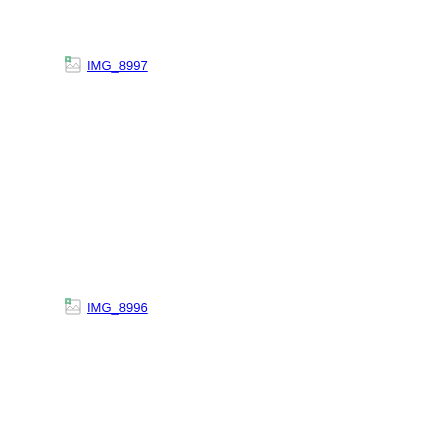[Figure (other): Broken image link placeholder labeled IMG_8997]
[Figure (other): Broken image link placeholder labeled IMG_8996]